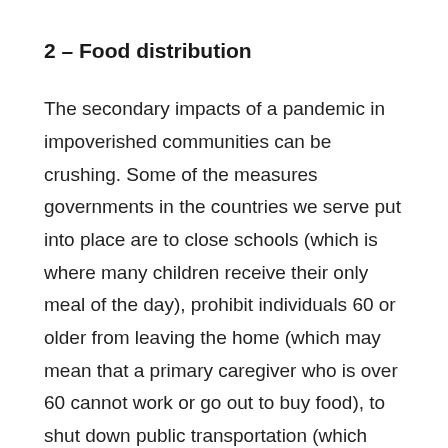2 – Food distribution
The secondary impacts of a pandemic in impoverished communities can be crushing. Some of the measures governments in the countries we serve put into place are to close schools (which is where many children receive their only meal of the day), prohibit individuals 60 or older from leaving the home (which may mean that a primary caregiver who is over 60 cannot work or go out to buy food), to shut down public transportation (which may limit where families can get their